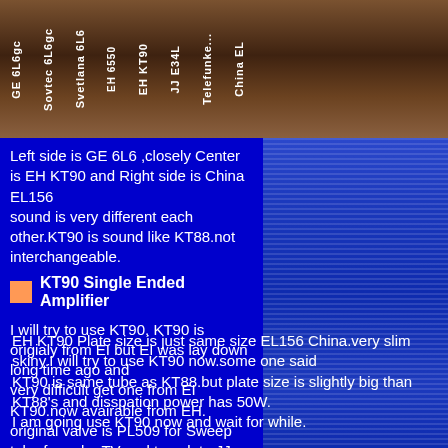[Figure (photo): Photo strip showing vacuum tubes arranged side by side with labels: GE 6L6gc, Sovtec 6L6gc, Svetlana 6L6, EH 6550, EH KT90, JJ E34L, Telefunken, China EL]
Left side is GE 6L6 ,closely Center is EH KT90 and Right side is China EL156
sound is very different each other.KT90 is sound like KT88.not interchangeable.
KT90 Single Ended Amplifier
I will try to use KT90, KT90 is origialy from EI but EI was lay down long time ago and
very difficult get one from EI KT90.now avairable from EH.
original valve is PL509 for Sweep tube for color TV and top plate.JJ has PL509 new type. but modificated without top plate.so slim valve new PL509 on 2007.
EH KT90 Plate size is just same size EL156 China.very slim skiny.I will try to use KT90 now.some one said
KT90 is same tube as KT88.but plate size is slightly big than KT88's and disspation power has 50W.
I am going use KT90 now and wait for while.